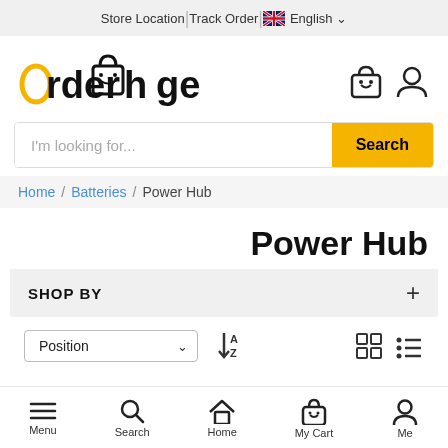Store Location | Track Order | English
[Figure (logo): OrderHuge logo with shopping bag icon, cart and user icon on right]
I'm looking for... Search
Home / Batteries / Power Hub
Power Hub
SHOP BY
Position (sort dropdown) with A-Z sort and grid/list view icons
Menu | Search | Home | My Cart | Me